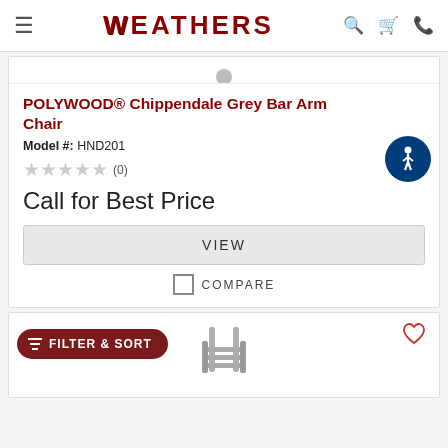WEATHERS (navigation bar with hamburger menu, search, cart, phone icons)
POLYWOOD® Chippendale Grey Bar Arm Chair
Model #: HND201
★★★★★ (0)
Call for Best Price
VIEW
COMPARE
[Figure (screenshot): Partial second product card with FILTER & SORT button (dark red pill-shaped) and a grey outdoor chair image visible]
[Figure (logo): Accessibility icon - blue circle with white person/wheelchair symbol]